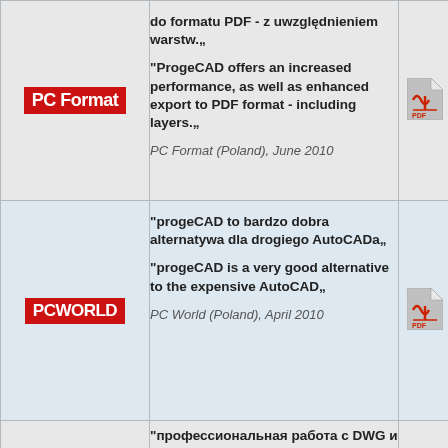| Logo | Quote | Icon |
| --- | --- | --- |
| PC Format | do formatu PDF - z uwzględnieniem warstw.„
"ProgeCAD offers an increased performance, as well as enhanced export to PDF format - including layers.„
PC Format (Poland), June 2010 | PDF icon |
| PC WORLD | "progeCAD to bardzo dobra alternatywa dla drogiego AutoCADa„
"progeCAD is a very good alternative to the expensive AutoCAD„
PC World (Poland), April 2010 | PDF icon |
|  | "профессиональная работа с DWG и DXF |  |